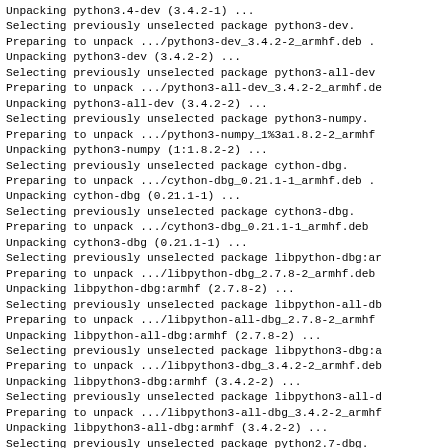Unpacking python3.4-dev (3.4.2-1) ...
Selecting previously unselected package python3-dev.
Preparing to unpack .../python3-dev_3.4.2-2_armhf.deb .
Unpacking python3-dev (3.4.2-2) ...
Selecting previously unselected package python3-all-dev
Preparing to unpack .../python3-all-dev_3.4.2-2_armhf.de
Unpacking python3-all-dev (3.4.2-2) ...
Selecting previously unselected package python3-numpy.
Preparing to unpack .../python3-numpy_1%3a1.8.2-2_armhf
Unpacking python3-numpy (1:1.8.2-2) ...
Selecting previously unselected package cython-dbg.
Preparing to unpack .../cython-dbg_0.21.1-1_armhf.deb .
Unpacking cython-dbg (0.21.1-1) ...
Selecting previously unselected package cython3-dbg.
Preparing to unpack .../cython3-dbg_0.21.1-1_armhf.deb
Unpacking cython3-dbg (0.21.1-1) ...
Selecting previously unselected package libpython-dbg:ar
Preparing to unpack .../libpython-dbg_2.7.8-2_armhf.deb
Unpacking libpython-dbg:armhf (2.7.8-2) ...
Selecting previously unselected package libpython-all-db
Preparing to unpack .../libpython-all-dbg_2.7.8-2_armhf
Unpacking libpython-all-dbg:armhf (2.7.8-2) ...
Selecting previously unselected package libpython3-dbg:a
Preparing to unpack .../libpython3-dbg_3.4.2-2_armhf.deb
Unpacking libpython3-dbg:armhf (3.4.2-2) ...
Selecting previously unselected package libpython3-all-d
Preparing to unpack .../libpython3-all-dbg_3.4.2-2_armhf
Unpacking libpython3-all-dbg:armhf (3.4.2-2) ...
Selecting previously unselected package python2.7-dbg.
Preparing to unpack .../python2.7-dbg_2.7.8-11_armhf.deb